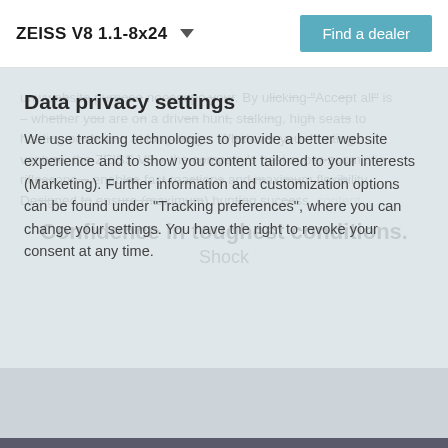ZEISS V8 1.1-8x24   Find a dealer
Data privacy settings
We use tracking technologies to provide a better website experience and to show you content tailored to your interests (Marketing). Further information and customization options can be found under "Tracking preferences", where you can change your settings. You have the right to revoke your consent at any time.
unwavering purpose no scope. By clicking "Accept all" is – whether you are on a driven hunt, stalking, high seats to hunting or shooting at long-range. Whatever your hunting venture, the ZEISS V8 + the company's best super-zoom site riflescope – enables fast reactions and maximum flexibility. Designed to ensure maximum hunting success. content
Confidence in toughest conditions.
Shock